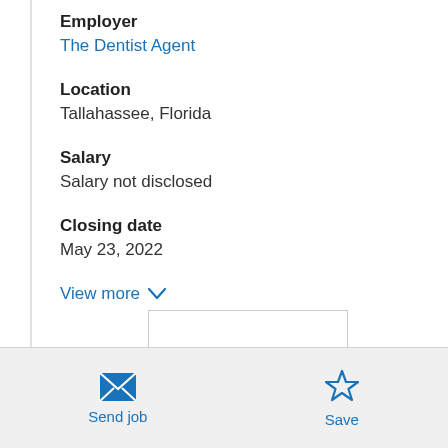Employer
The Dentist Agent
Location
Tallahassee, Florida
Salary
Salary not disclosed
Closing date
May 23, 2022
View more
Send job
Save